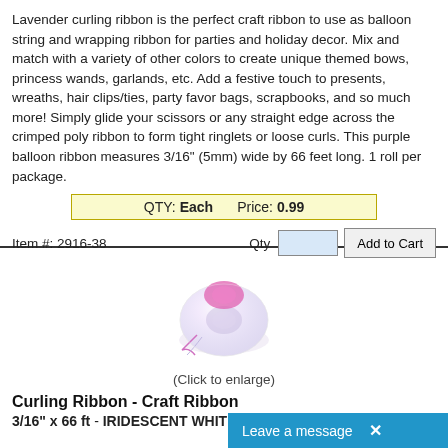Lavender curling ribbon is the perfect craft ribbon to use as balloon string and wrapping ribbon for parties and holiday decor. Mix and match with a variety of other colors to create unique themed bows, princess wands, garlands, etc. Add a festive touch to presents, wreaths, hair clips/ties, party favor bags, scrapbooks, and so much more! Simply glide your scissors or any straight edge across the crimped poly ribbon to form tight ringlets or loose curls. This purple balloon ribbon measures 3/16" (5mm) wide by 66 feet long. 1 roll per package.
QTY: Each   Price: 0.99
Item #: 2916-38
[Figure (photo): A roll of iridescent white curling ribbon with pink accent ribbon on top, shown from the front.]
(Click to enlarge)
Curling Ribbon - Craft Ribbon
3/16" x 66 ft -  IRIDESCENT WHIT
Leave a message  X